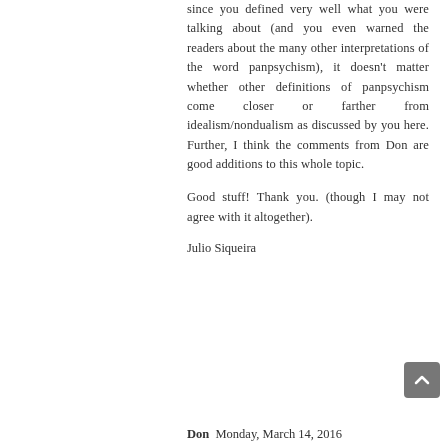since you defined very well what you were talking about (and you even warned the readers about the many other interpretations of the word panpsychism), it doesn't matter whether other definitions of panpsychism come closer or farther from idealism/nondualism as discussed by you here. Further, I think the comments from Don are good additions to this whole topic.
Good stuff! Thank you. (though I may not agree with it altogether).
Julio Siqueira
Don  Monday, March 14, 2016